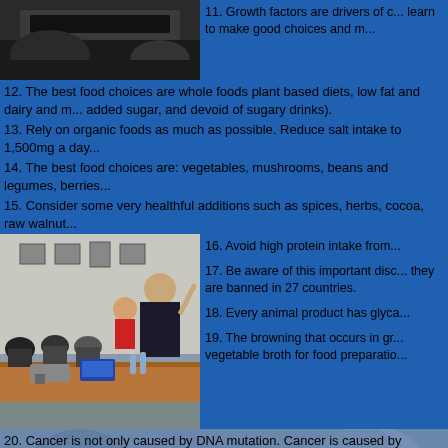[Figure (photo): Dark photo of hands/laptop at top left]
11. Growth factors are drivers of c... learn to make good choices and m...
12. The best food choices are whole foods plant based diets, low fat and dairy and m... added sugar, and devoid of sugary drinks).
13. Rely on organic foods as much as possible. Reduce salt intake to 1,500mg a day...
14. The best food choices are: vegetables, mushrooms, beans and legumes, berries...
15. Consider some very healthful additions such as spices, herbs, cocoa, raw walnut...
[Figure (photo): Photo of man presenting to group at conference table]
16. Avoid high protein intake from...
17. Be aware of this important disc... they are banned in 27 countries.
18. Every animal product has glyca...
19. The browning that occurs in gr... vegetable broth for food preparatio...
20. Cancer is not only caused by DNA mutation. Cancer is caused by glycation, infla...
At the end of his presentation, Nick gave everyone in attendance a colorful graphic e... Cancer Prevention and Survival published by the Physicians Committee for Respons... during telephone and personal consultations at no cost.
Nick Pokoluk is a man on a mission. He wants to help. He wants to serve. He wants... alternative message to anyone who will take the time to listen and learn.
[Figure (photo): Background photo of stone sculpture/figures at bottom of page]